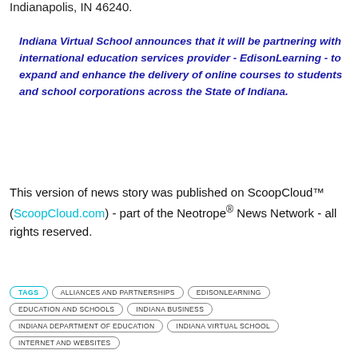Indianapolis, IN 46240.
Indiana Virtual School announces that it will be partnering with international education services provider - EdisonLearning - to expand and enhance the delivery of online courses to students and school corporations across the State of Indiana.
This version of news story was published on ScoopCloud™ (ScoopCloud.com) - part of the Neotrope® News Network - all rights reserved.
TAGS  ALLIANCES AND PARTNERSHIPS  EDISONLEARNING  EDUCATION AND SCHOOLS  INDIANA BUSINESS  INDIANA DEPARTMENT OF EDUCATION  INDIANA VIRTUAL SCHOOL  INTERNET AND WEBSITES